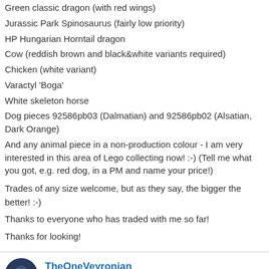Green classic dragon (with red wings)
Jurassic Park Spinosaurus (fairly low priority)
HP Hungarian Horntail dragon
Cow (reddish brown and black&white variants required)
Chicken (white variant)
Varactyl 'Boga'
White skeleton horse
Dog pieces 92586pb03 (Dalmatian) and 92586pb02 (Alsatian, Dark Orange)
And any animal piece in a non-production colour - I am very interested in this area of Lego collecting now! :-) (Tell me what you got, e.g. red dog, in a PM and name your price!)
Trades of any size welcome, but as they say, the bigger the better! :-)
Thanks to everyone who has traded with me so far!
Thanks for looking!
TheOneVeyronian   Help me, I'm inside the M25! (UK)   Member
Posts: 1,372
November 2013
Housekeeping!
Hence!